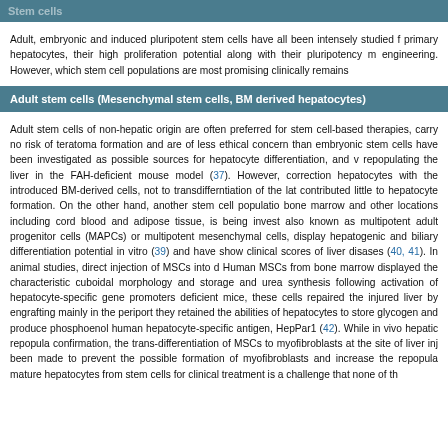Stem cells
Adult, embryonic and induced pluripotent stem cells have all been intensely studied f... primary hepatocytes, their high proliferation potential along with their pluripotency m... engineering. However, which stem cell populations are most promising clinically remains...
Adult stem cells (Mesenchymal stem cells, BM derived hepatocytes)
Adult stem cells of non-hepatic origin are often preferred for stem cell-based therapies, carry no risk of teratoma formation and are of less ethical concern than embryonic stem cells have been investigated as possible sources for hepatocyte differentiation, and v repopulating the liver in the FAH-deficient mouse model (37). However, correction hepatocytes with the introduced BM-derived cells, not to transdifferntiation of the lat contributed little to hepatocyte formation. On the other hand, another stem cell populatio bone marrow and other locations including cord blood and adipose tissue, is being invest also known as multipotent adult progenitor cells (MAPCs) or multipotent mesenchymal cells, display hepatogenic and biliary differentiation potential in vitro (39) and have show clinical scores of liver disases (40, 41). In animal studies, direct injection of MSCs into d Human MSCs from bone marrow displayed the characteristic cuboidal morphology and storage and urea synthesis following activation of hepatocyte-specific gene promoters deficient mice, these cells repaired the injured liver by engrafting mainly in the periport they retained the abilities of hepatocytes to store glycogen and produce phosphoenol human hepatocyte-specific antigen, HepPar1 (42). While in vivo hepatic repopula confirmation, the trans-differentiation of MSCs to myofibroblasts at the site of liver inj been made to prevent the possible formation of myofibroblasts and increase the repopula mature hepatocytes from stem cells for clinical treatment is a challenge that none of th